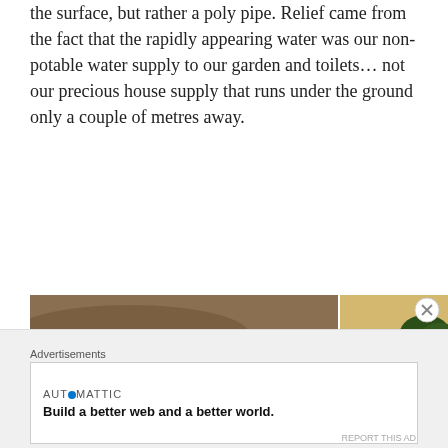the surface, but rather a poly pipe. Relief came from the fact that the rapidly appearing water was our non-potable water supply to our garden and toilets… not our precious house supply that runs under the ground only a couple of metres away.
[Figure (photo): Large photo of an excavated muddy area with a blue plastic crate and a pickaxe visible on disturbed brown soil]
[Figure (photo): Small photo showing a green field with trees in background and some dark tank or container]
[Figure (photo): Small photo of two people standing in a muddy, waterlogged excavation site surrounded by green landscape]
Advertisements
AUTOMATTIC
Build a better web and a better world.